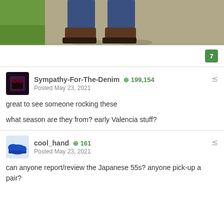[Figure (photo): Top-down photo of person wearing brown leather boots and dark blue jeans, standing on a sidewalk with grass visible to the left]
7
Sympathy-For-The-Denim  +199,154
Posted May 23, 2021

great to see someone rocking these

what season are they from? early Valencia stuff?
cool_hand  +161
Posted May 23, 2021

can anyone report/review the Japanese 55s? anyone pick-up a pair?